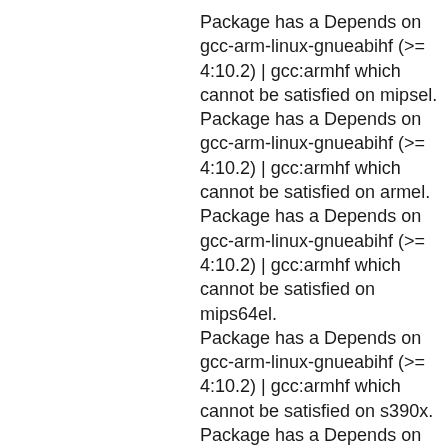Package has a Depends on gcc-arm-linux-gnueabihf (>= 4:10.2) | gcc:armhf which cannot be satisfied on mipsel.
Package has a Depends on gcc-arm-linux-gnueabihf (>= 4:10.2) | gcc:armhf which cannot be satisfied on armel.
Package has a Depends on gcc-arm-linux-gnueabihf (>= 4:10.2) | gcc:armhf which cannot be satisfied on mips64el.
Package has a Depends on gcc-arm-linux-gnueabihf (>= 4:10.2) | gcc:armhf which cannot be satisfied on s390x.
Package has a Depends on gcc-arm-linux-gnueabihf (>= 4:10.2) | gcc:armhf which cannot be satisfied on mipsel.
Package has a Depends on gcc-arm-linux-gnueabihf (>= 4:10.2) | gcc:armhf which cannot be satisfied on [cut off]